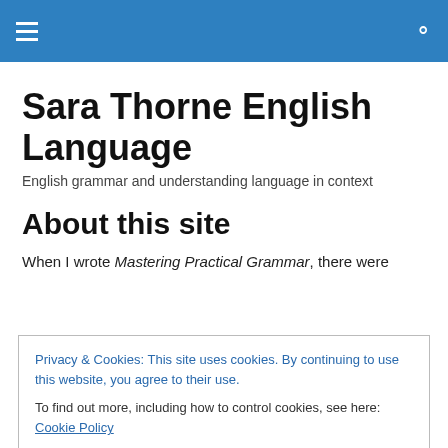Sara Thorne English Language [navigation bar with hamburger menu and search icon]
Sara Thorne English Language
English grammar and understanding language in context
About this site
When I wrote Mastering Practical Grammar, there were
Privacy & Cookies: This site uses cookies. By continuing to use this website, you agree to their use.
To find out more, including how to control cookies, see here: Cookie Policy
Close and accept
topical language issues.